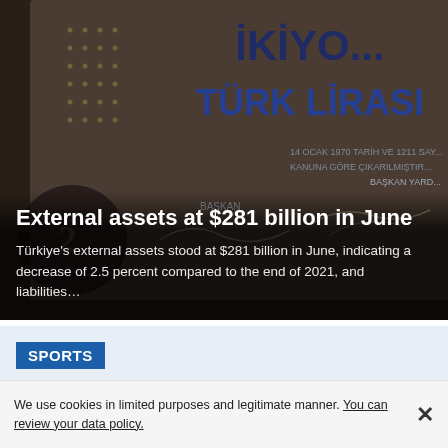[Figure (photo): Close-up photograph of Turkish lira banknote showing text 'İKİ... TÜRK LİRASI' and other banknote details with dark background]
External assets at $281 billion in June
Türkiye's external assets stood at $281 billion in June, indicating a decrease of 2.5 percent compared to the end of 2021, and liabilities…
SPORTS
We use cookies in limited purposes and legitimate manner. You can review your data policy.